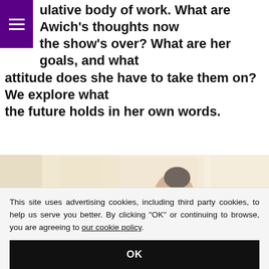ulative body of work. What are Awich's thoughts now the show's over? What are her goals, and what attitude does she have to take them on? We explore what the future holds in her own words.
[Figure (photo): A young woman sitting on a tan/brown sofa or couch, leaning back in a relaxed pose. She is wearing black clothing and a loose olive/khaki jacket that is slipping off her shoulder. Her hair is in a bun. The background is bright with light coming through windows. There is a rotated 'To' label on the left edge of the image.]
This site uses advertising cookies, including third party cookies, to help us serve you better. By clicking "OK" or continuing to browse, you are agreeing to our cookie policy.